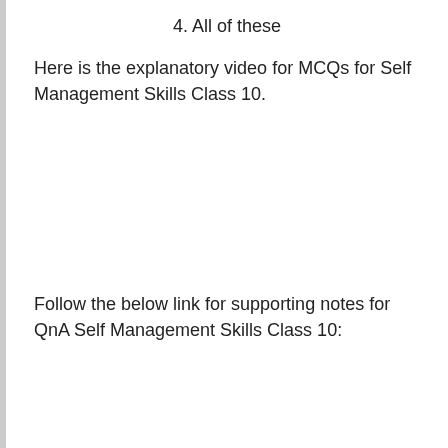4. All of these
Here is the explanatory video for MCQs for Self Management Skills Class 10.
Follow the below link for supporting notes for QnA Self Management Skills Class 10: